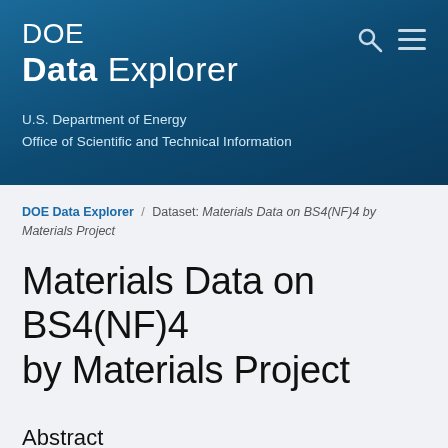DOE Data Explorer — U.S. Department of Energy Office of Scientific and Technical Information
DOE Data Explorer / Dataset: Materials Data on BS4(NF)4 by Materials Project
Materials Data on BS4(NF)4 by Materials Project
Abstract